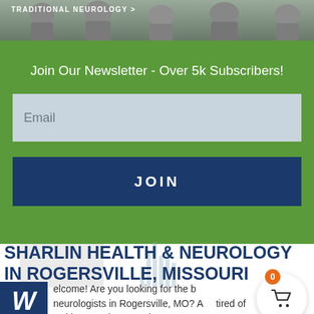[Figure (photo): Top banner image showing people sitting outdoors, partially visible at the top of the page]
TRADITIONAL NEUROLOGY >
Join Our Newsletter - Over 5k Subscribers!
Email
JOIN
SHARLIN HEALTH & NEUROLOGY IN ROGERSVILLE, MISSOURI
Welcome! Are you looking for the best neurologists in Rogersville, MO? Are you tired of waiting months to get in to see a